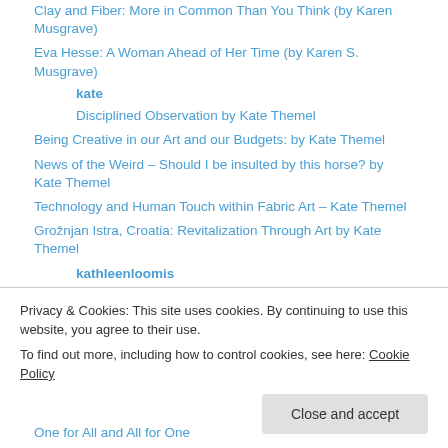Clay and Fiber: More in Common Than You Think (by Karen Musgrave)
Eva Hesse: A Woman Ahead of Her Time (by Karen S. Musgrave)
kate
Disciplined Observation by Kate Themel
Being Creative in our Art and our Budgets: by Kate Themel
News of the Weird – Should I be insulted by this horse? by Kate Themel
Technology and Human Touch within Fabric Art – Kate Themel
Grožnjan Istra, Croatia: Revitalization Through Art by Kate Themel
kathleenloomis
Laurie Wohl — Unweavings (by Kathleen Loomis)
Found in the International Honor Quilt boxes — Ana Lupas (by Kathleen Loomis)
One for All and All for One
Privacy & Cookies: This site uses cookies. By continuing to use this website, you agree to their use. To find out more, including how to control cookies, see here: Cookie Policy
Close and accept